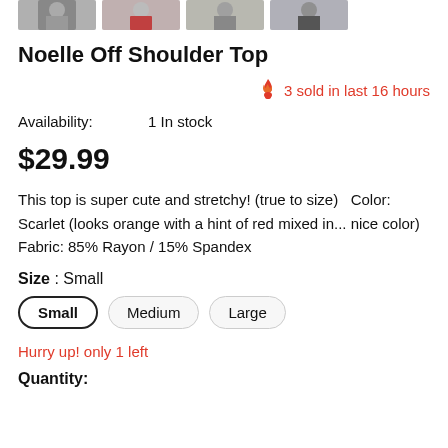[Figure (photo): Row of four product thumbnail photos of the Noelle Off Shoulder Top, partially visible at the top of the page.]
Noelle Off Shoulder Top
3 sold in last 16 hours
Availability:        1 In stock
$29.99
This top is super cute and stretchy! (true to size)   Color: Scarlet (looks orange with a hint of red mixed in... nice color) Fabric: 85% Rayon / 15% Spandex
Size : Small
Small   Medium   Large
Hurry up! only 1 left
Quantity: